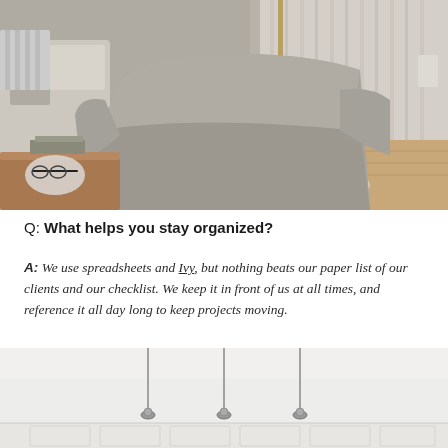[Figure (photo): Interior living room photo showing upholstered grey armchairs, a tan ottoman with books and glasses, a gold floor lamp, white area rug, wood floors, and grey striped curtains.]
Q: What helps you stay organized?
A: We use spreadsheets and Ivy, but nothing beats our paper list of our clients and our checklist. We keep it in front of us at all times, and reference it all day long to keep projects moving.
[Figure (photo): Interior room photo showing white ceiling with three pendant light fixtures hanging on long cords, white walls and cabinetry below.]